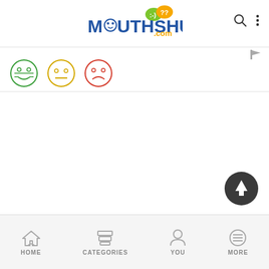[Figure (logo): MouthShut.com logo with smiley face emoticons]
[Figure (infographic): Three emoji faces: green happy, yellow neutral, red sad]
[Figure (other): Scroll to top button (dark circle with up arrow)]
[Figure (other): Bottom navigation bar with HOME, CATEGORIES, YOU, MORE icons]